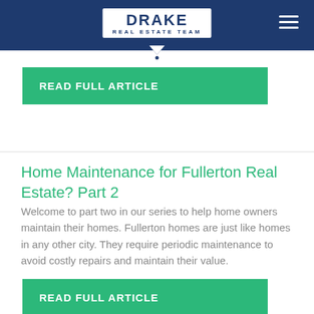DRAKE REAL ESTATE TEAM
READ FULL ARTICLE
Home Maintenance for Fullerton Real Estate? Part 2
Welcome to part two in our series to help home owners maintain their homes.  Fullerton homes are just like homes in any other city. They require periodic maintenance to avoid costly repairs and maintain their value.
READ FULL ARTICLE